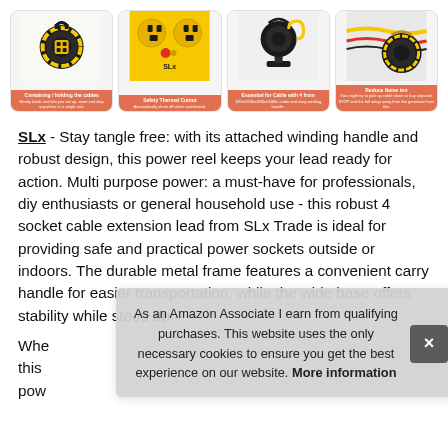[Figure (photo): Four product images of cable reels/extension leads in a horizontal strip: (1) black frame cable reel with yellow cord and winding handle, (2) close-up of yellow extension lead showing sockets, (3) black cable reel on stand with yellow cable, (4) cable reel with yellow and other colored cables. Each image has a red-orange label with product feature text.]
SLx - Stay tangle free: with its attached winding handle and robust design, this power reel keeps your lead ready for action. Multi purpose power: a must-have for professionals, diy enthusiasts or general household use - this robust 4 socket cable extension lead from SLx Trade is ideal for providing safe and practical power sockets outside or indoors. The durable metal frame features a convenient carry handle for easier transportation, while the wide base offers stability while stood up.
Whe this pow
As an Amazon Associate I earn from qualifying purchases. This website uses the only necessary cookies to ensure you get the best experience on our website. More information